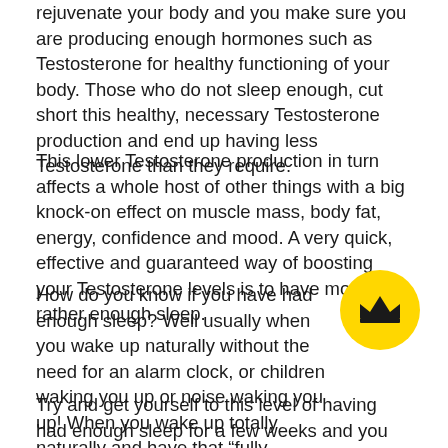rejuvenate your body and you make sure you are producing enough hormones such as Testosterone for healthy functioning of your body. Those who do not sleep enough, cut short this healthy, necessary Testosterone production and end up having less Testosterone than they require.
This lower Testosterone production in turn affects a whole host of other things with a big knock-on effect on muscle mass, body fat, energy, confidence and mood. A very quick, effective and guaranteed way of boosting your Testosterone levels is to have more or rather enough sleep.
How do you know if you have had enough sleep? Well usually when you wake up naturally without the need for an alarm clock, or children waking you up or noise waking you up! When you wake up totally naturally and have that “fully rested” feeling, this is when you have had enough sleep.
Try and get yourself to this level of having had enough sleep for a few weeks and you will see your Testosterone levels
[Figure (illustration): Yellow circle badge with a dark crown icon in the center, positioned in the upper right area of the third paragraph.]